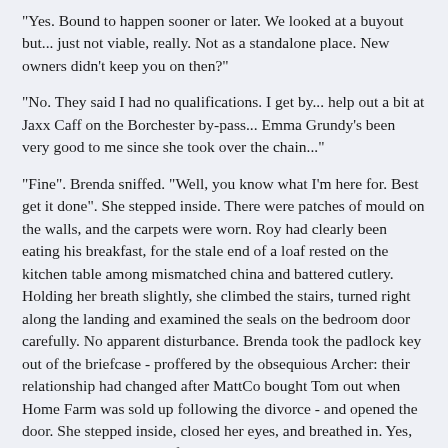"Yes. Bound to happen sooner or later. We looked at a buyout but... just not viable, really. Not as a standalone place. New owners didn't keep you on then?"
"No. They said I had no qualifications. I get by... help out a bit at Jaxx Caff on the Borchester by-pass... Emma Grundy's been very good to me since she took over the chain..."
"Fine". Brenda sniffed. "Well, you know what I'm here for. Best get it done". She stepped inside. There were patches of mould on the walls, and the carpets were worn. Roy had clearly been eating his breakfast, for the stale end of a loaf rested on the kitchen table among mismatched china and battered cutlery. Holding her breath slightly, she climbed the stairs, turned right along the landing and examined the seals on the bedroom door carefully. No apparent disturbance. Brenda took the padlock key out of the briefcase - proffered by the obsequious Archer: their relationship had changed after MattCo bought Tom out when Home Farm was sold up following the divorce - and opened the door. She stepped inside, closed her eyes, and breathed in. Yes, all as it should be. All safe, all untouched...